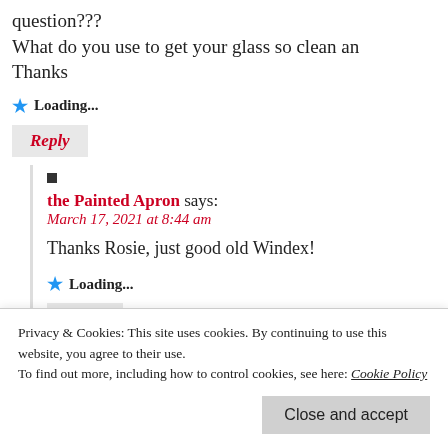question???
What do you use to get your glass so clean and Thanks
Loading...
Reply
■
the Painted Apron says:
March 17, 2021 at 8:44 am
Thanks Rosie, just good old Windex!
Loading...
Reply
Privacy & Cookies: This site uses cookies. By continuing to use this website, you agree to their use.
To find out more, including how to control cookies, see here: Cookie Policy
Close and accept